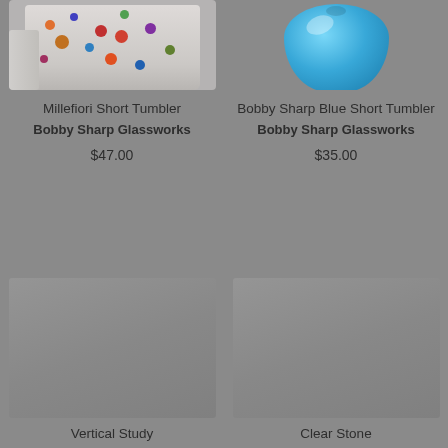[Figure (photo): Partial top view of a millefiori short tumbler glass with colorful floral dot pattern]
Millefiori Short Tumbler
Bobby Sharp Glassworks
$47.00
[Figure (photo): Partial top view of a blue short tumbler glass]
Bobby Sharp Blue Short Tumbler
Bobby Sharp Glassworks
$35.00
[Figure (photo): Bottom row left product image, mostly gray/loading]
Vertical Study
[Figure (photo): Bottom row right product image, mostly gray/loading]
Clear Stone